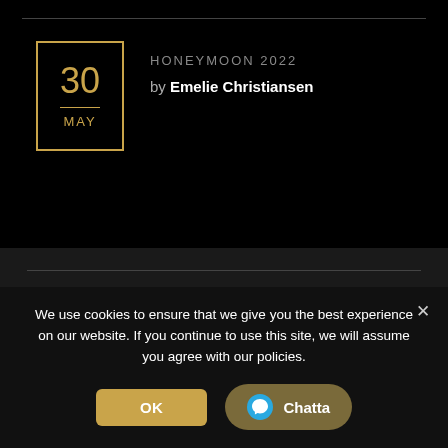HONEYMOON 2022
by Emelie Christiansen
30 MAY
© Rings of Sweden 2022 ♥ . All rights reserved
We use cookies to ensure that we give you the best experience on our website. If you continue to use this site, we will assume you agree with our policies.
OK
Chatta